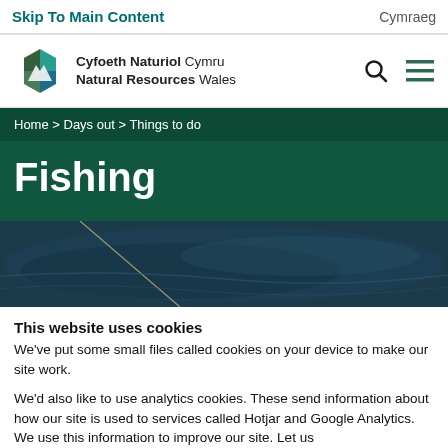Skip To Main Content | Cymraeg
[Figure (logo): Natural Resources Wales / Cyfoeth Naturiol Cymru logo with hexagonal mountain/water icon]
Home > Days out > Things to do
Fishing
[Figure (photo): Dark teal water with a fishing line visible, aerial or close-up view]
This website uses cookies
We've put some small files called cookies on your device to make our site work.
We'd also like to use analytics cookies. These send information about how our site is used to services called Hotjar and Google Analytics. We use this information to improve our site. Let us